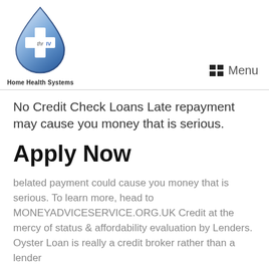[Figure (logo): thrIV Home Health Systems logo — blue water droplet with white plus/cross symbol and 'thrIV' text inside]
Home Health Systems   Menu
No Credit Check Loans Late repayment may cause you money that is serious.
Apply Now
belated payment could cause you money that is serious. To learn more, head to MONEYADVICESERVICE.ORG.UK Credit at the mercy of status & affordability evaluation by Lenders. Oyster Loan is really a credit broker rather than a lender